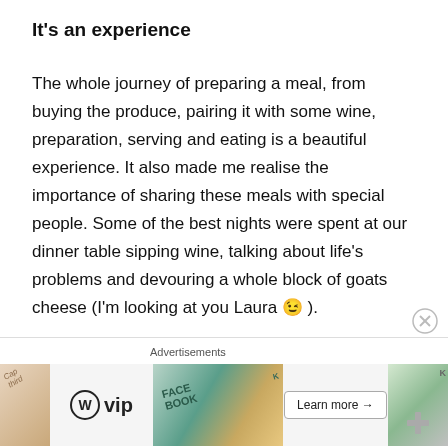It's an experience
The whole journey of preparing a meal, from buying the produce, pairing it with some wine, preparation, serving and eating is a beautiful experience. It also made me realise the importance of sharing these meals with special people. Some of the best nights were spent at our dinner table sipping wine, talking about life's problems and devouring a whole block of goats cheese (I'm looking at you Laura 😉 ).
[Figure (other): Advertisement banner featuring WordPress VIP logo and a 'Learn more' button with colorful background imagery]
Advertisements